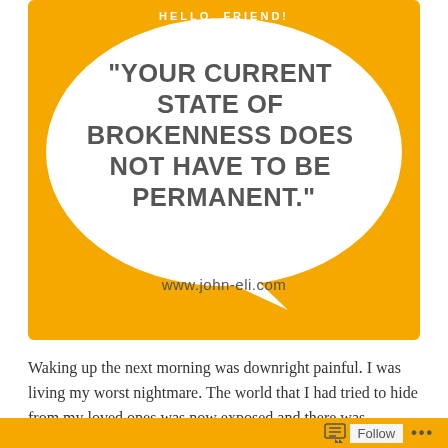[Figure (infographic): Orange rectangular background with a large white speech bubble containing an inspirational quote in bold uppercase text and a website URL below.]
"Your current state of brokenness does not have to be permanent."
www.john-eli.com
Waking up the next morning was downright painful. I was living my worst nightmare. The world that I had tried to hide from my loved ones was now exposed and there was nothing that I could do about it. At that moment, I felt
Follow ...